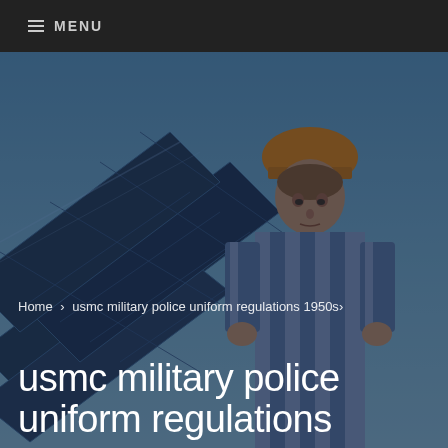≡ MENU
[Figure (photo): A male worker wearing an orange hard hat and blue and white striped shirt, working on solar panels against a clear blue sky. The image is darkened with a semi-transparent overlay.]
Home › usmc military police uniform regulations 1950s›
usmc military police uniform regulations